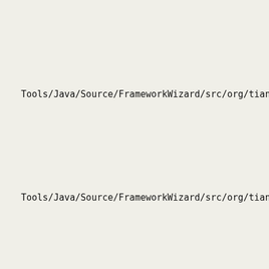Tools/Java/Source/FrameworkWizard/src/org/tianocore/framewo
Tools/Java/Source/FrameworkWizard/src/org/tianocore/framewo
Tools/Java/Source/FrameworkWizard/src/org/tianocore/framewo
Tools/Java/Source/FrameworkWizard/src/org/tianocore/framewo
Tools/Java/Source/FrameworkWizard/src/org/tianocore/framewo
Tools/Java/Source/FrameworkWizard/src/org/tianocore/framewo